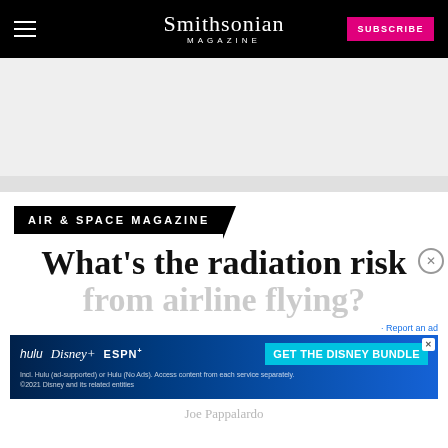Smithsonian MAGAZINE
[Figure (other): Gray advertisement placeholder rectangle]
AIR & SPACE MAGAZINE
What’s the radiation risk from airline flying?
[Figure (other): Disney Bundle advertisement banner with Hulu, Disney+, ESPN+ logos and GET THE DISNEY BUNDLE call to action]
Joe Pappalardo